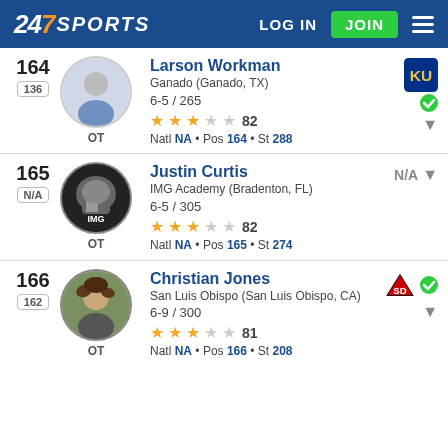247 SPORTS  LOG IN  JOIN
164 | 136 | OT | Larson Workman | Ganado (Ganado, TX) | 6-5 / 265 | Rating: 82 | Natl NA • Pos 164 • St 288
165 | N/A | OT | Justin Curtis | IMG Academy (Bradenton, FL) | 6-5 / 305 | Rating: 82 | Natl NA • Pos 165 • St 274 | N/A
166 | 162 | OT | Christian Jones | San Luis Luis Obispo (San Luis Obispo, CA) | 6-9 / 300 | Rating: 81 | Natl NA • Pos 166 • St 208